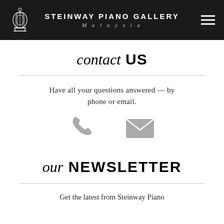STEINWAY PIANO GALLERY Malaysia
contact US
Have all your questions answered — by phone or email.
[Figure (illustration): Phone icon and email envelope icon side by side in gray]
our NEWSLETTER
Get the latest from Steinway Piano